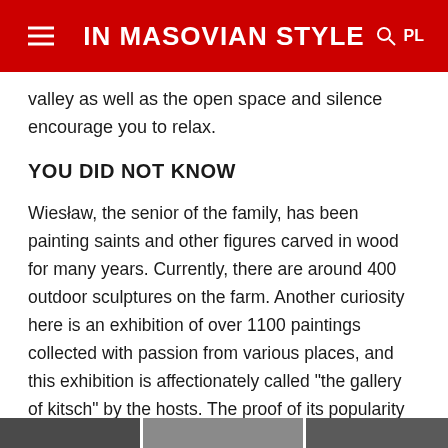IN MASOVIAN STYLE
valley as well as the open space and silence encourage you to relax.
YOU DID NOT KNOW
Wiesław, the senior of the family, has been painting saints and other figures carved in wood for many years. Currently, there are around 400 outdoor sculptures on the farm. Another curiosity here is an exhibition of over 1100 paintings collected with passion from various places, and this exhibition is affectionately called “the gallery of kitsch” by the hosts. The proof of its popularity among guests, to the great concern of the owners, is unfortunately, the systematic “disappearance” of the paintings.
[Figure (photo): Strip of partial images at the bottom of the page]